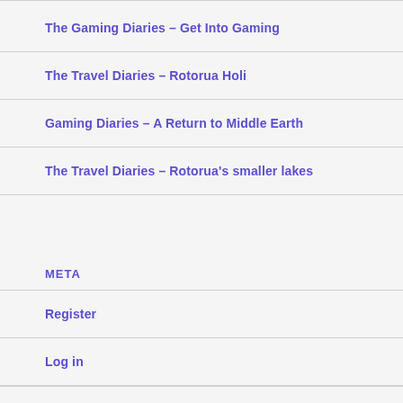The Gaming Diaries – Get Into Gaming
The Travel Diaries – Rotorua Holi
Gaming Diaries – A Return to Middle Earth
The Travel Diaries – Rotorua's smaller lakes
META
Register
Log in
Entries feed